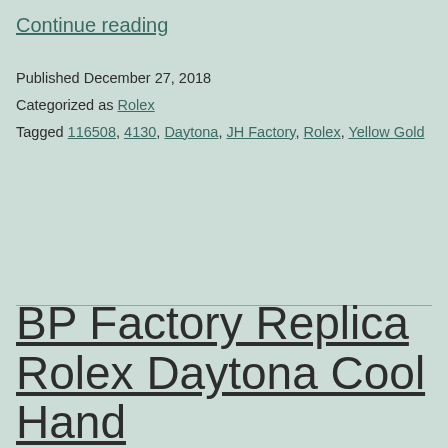Continue reading
Published December 27, 2018
Categorized as Rolex
Tagged 116508, 4130, Daytona, JH Factory, Rolex, Yellow Gold
BP Factory Replica Rolex Daytona Cool Hand